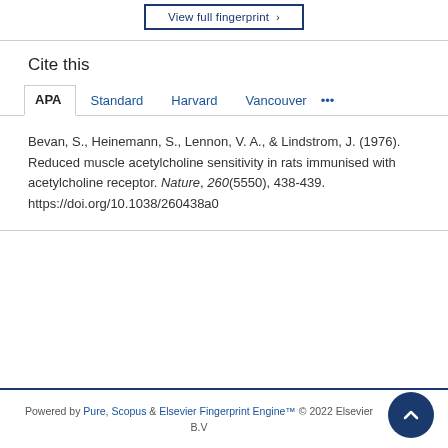[Figure (other): View full fingerprint button (partial, cropped at top)]
Cite this
APA | Standard | Harvard | Vancouver | ...
Bevan, S., Heinemann, S., Lennon, V. A., & Lindstrom, J. (1976). Reduced muscle acetylcholine sensitivity in rats immunised with acetylcholine receptor. Nature, 260(5550), 438-439. https://doi.org/10.1038/260438a0
Powered by Pure, Scopus & Elsevier Fingerprint Engine™ © 2022 Elsevier B.V